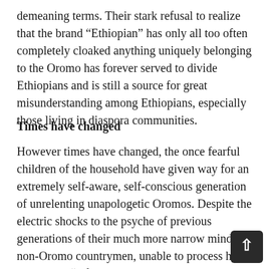demeaning terms. Their stark refusal to realize that the brand “Ethiopian” has only all too often completely cloaked anything uniquely belonging to the Oromo has forever served to divide Ethiopians and is still a source for great misunderstanding among Ethiopians, especially those living in diaspora communities.
Times have changed
However times have changed, the once fearful children of the household have given way for an extremely self-aware, self-conscious generation of unrelenting unapologetic Oromos. Despite the electric shocks to the psyche of previous generations of their much more narrow minded non-Oromo countrymen, unable to process how these once “inferior” beings could be at the reins of every quest for justice and equality in Ethiopia, today’s generation of Oromos are proof that a century’s worth of attempts at annihilating any sense of pride the Oromo have in themselves, has backfired on a massive scale.